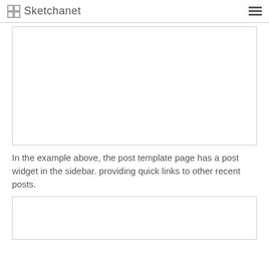Sketchanet
[Figure (screenshot): A blank white rectangular placeholder box with a light gray border, representing an embedded image or screenshot of a post template page with sidebar widget.]
In the example above, the post template page has a post widget in the sidebar. providing quick links to other recent posts.
[Figure (screenshot): A blank white rectangular placeholder box with a light gray border, representing another embedded screenshot or image.]